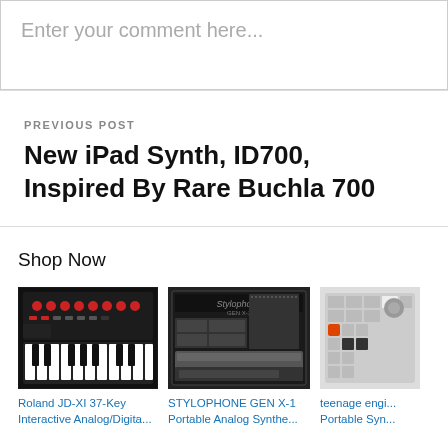Enter your comment here...
PREVIOUS POST
New iPad Synth, ID700, Inspired By Rare Buchla 700
Shop Now
[Figure (photo): Roland JD-XI 37-Key Interactive Analog/Digital synthesizer keyboard]
Roland JD-XI 37-Key Interactive Analog/Digita...
[Figure (photo): STYLOPHONE GEN X-1 Portable Analog Synthesizer]
STYLOPHONE GEN X-1 Portable Analog Synthe...
[Figure (photo): teenage engineering Portable Synthesizer]
teenage engi... Portable Syn...